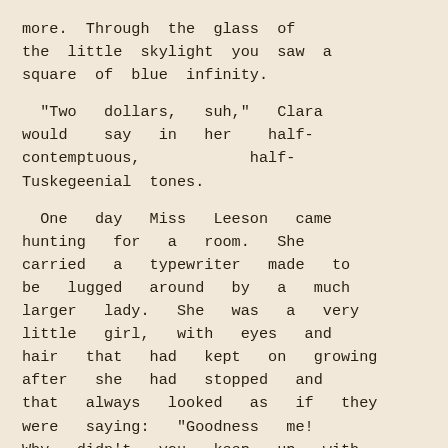more. Through the glass of the little skylight you saw a square of blue infinity.
"Two dollars, suh," Clara would say in her half-contemptuous, half-Tuskegeenial tones.
One day Miss Leeson came hunting for a room. She carried a typewriter made to be lugged around by a much larger lady. She was a very little girl, with eyes and hair that had kept on growing after she had stopped and that always looked as if they were saying: "Goodness me! Why didn't you keep up with us?"